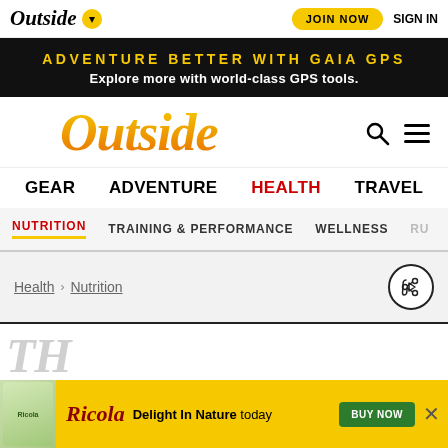Outside | JOIN NOW | SIGN IN
ADVENTURE BETTER WITH GAIA GPS. Explore more with world-class GPS tools.
Outside
GEAR   ADVENTURE   HEALTH   TRAVEL
NUTRITION   TRAINING & PERFORMANCE   WELLNESS   RUN
Health > Nutrition
TH... (partial text)
Ricola Delight In Nature today BUY NOW